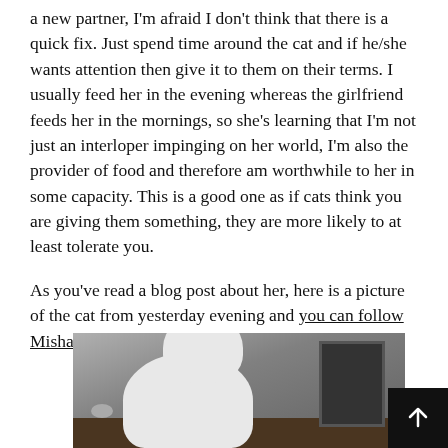a new partner, I'm afraid I don't think that there is a quick fix. Just spend time around the cat and if he/she wants attention then give it to them on their terms. I usually feed her in the evening whereas the girlfriend feeds her in the mornings, so she's learning that I'm not just an interloper impinging on her world, I'm also the provider of food and therefore am worthwhile to her in some capacity. This is a good one as if cats think you are giving them something, they are more likely to at least tolerate you.
As you've read a blog post about her, here is a picture of the cat from yesterday evening and you can follow Misha's adventures on her own Instagram page.
[Figure (photo): Grayscale photograph of a cat (Misha) sitting on a dark desk, with a computer mouse visible to the left and a monitor partially visible on the right.]